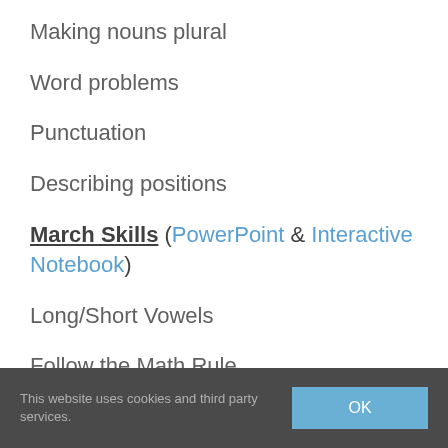Making nouns plural
Word problems
Punctuation
Describing positions
March Skills (PowerPoint & Interactive Notebook)
Long/Short Vowels
Follow the Math Rule
This website uses cookies and third party services.